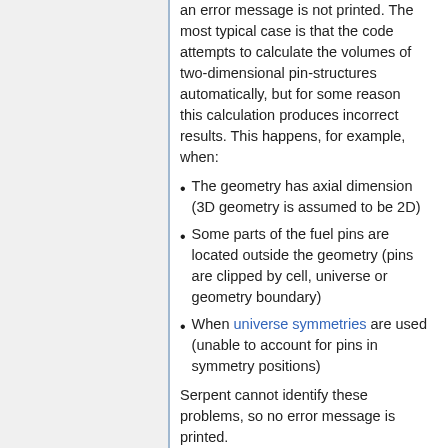an error message is not printed. The most typical case is that the code attempts to calculate the volumes of two-dimensional pin-structures automatically, but for some reason this calculation produces incorrect results. This happens, for example, when:
The geometry has axial dimension (3D geometry is assumed to be 2D)
Some parts of the fuel pins are located outside the geometry (pins are clipped by cell, universe or geometry boundary)
When universe symmetries are used (unable to account for pins in symmetry positions)
Serpent cannot identify these problems, so no error message is printed.
Material volumes should always be checked using the Monte Carlo-based